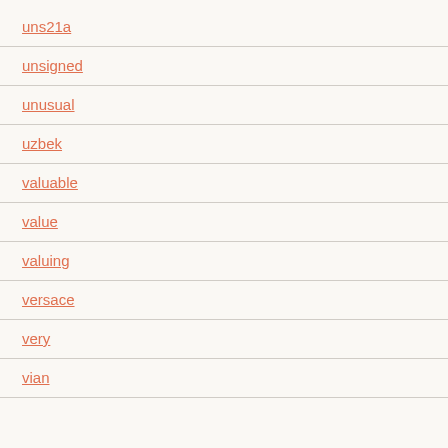uns21a
unsigned
unusual
uzbek
valuable
value
valuing
versace
very
vian